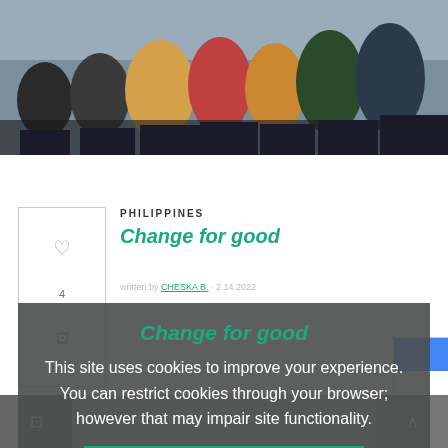[Figure (photo): Group photo of people sitting together outdoors]
PHILIPPINES
Change for good
CHESKA B. · 2.14.2022
This site uses cookies to improve your experience. You can restrict cookies through your browser; however that may impair site functionality.
GOT IT
[Figure (photo): Bottom partial photo, dark background]
[Figure (screenshot): reCAPTCHA badge]